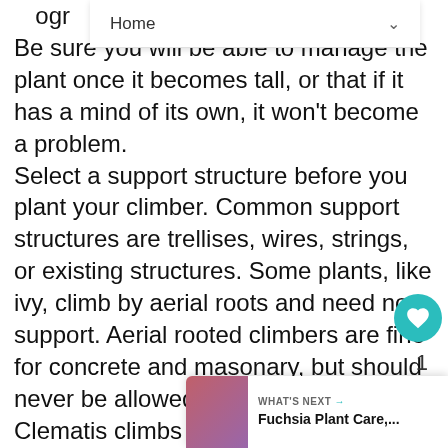grow. Be sure you will be able to manage the plant once it becomes tall, or that if it has a mind of its own, it won't become a problem. Select a support structure before you plant your climber. Common support structures are trellises, wires, strings, or existing structures. Some plants, like ivy, climb by aerial roots and need no support. Aerial rooted climbers are fine for concrete and masonary, but should never be allowed to climb on wood. Clematis climbs by leaf stalks and the Passion flower coiling tendrils. Akebia and Wisteria climb by twining stems in a spiral fashion around its support.